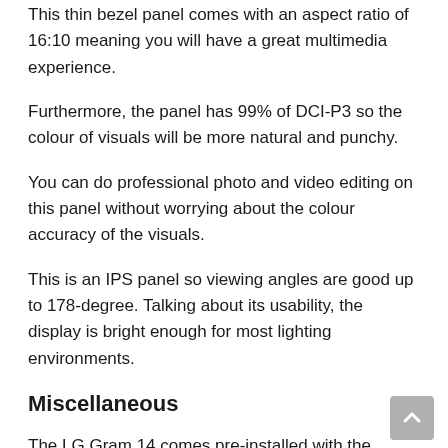This thin bezel panel comes with an aspect ratio of 16:10 meaning you will have a great multimedia experience.
Furthermore, the panel has 99% of DCI-P3 so the colour of visuals will be more natural and punchy.
You can do professional photo and video editing on this panel without worrying about the colour accuracy of the visuals.
This is an IPS panel so viewing angles are good up to 178-degree. Talking about its usability, the display is bright enough for most lighting environments.
Miscellaneous
The LG Gram 14 comes pre-installed with the Windows 10 Home OS.
The keycaps of the tenkeyless keyboard are slightly larger than its predecessor and key travel is also increased from